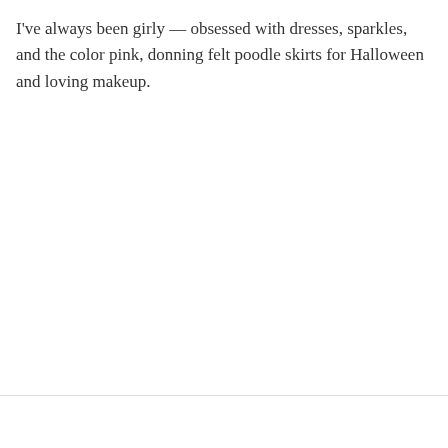I've always been girly — obsessed with dresses, sparkles, and the color pink, donning felt poodle skirts for Halloween and loving makeup.